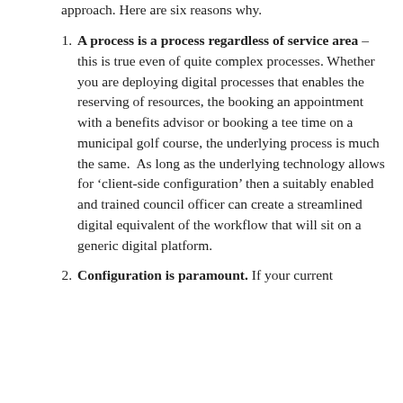approach. Here are six reasons why.
A process is a process regardless of service area – this is true even of quite complex processes. Whether you are deploying digital processes that enables the reserving of resources, the booking an appointment with a benefits advisor or booking a tee time on a municipal golf course, the underlying process is much the same.  As long as the underlying technology allows for ‘client-side configuration’ then a suitably enabled and trained council officer can create a streamlined digital equivalent of the workflow that will sit on a generic digital platform.
Configuration is paramount. If your current